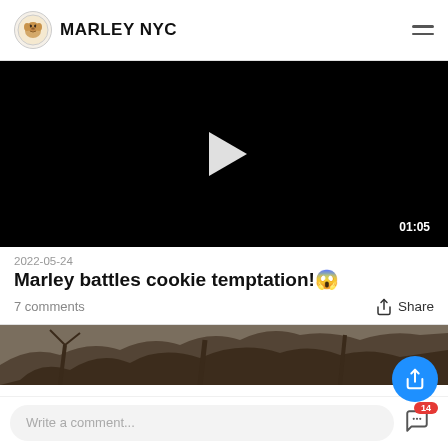MARLEY NYC
[Figure (screenshot): Black video player with white play button and duration 01:05 in bottom right corner]
2022-05-24
Marley battles cookie temptation!😳
7 comments
Share
[Figure (photo): Partial photo of tree branches visible at bottom of page]
Write a comment...